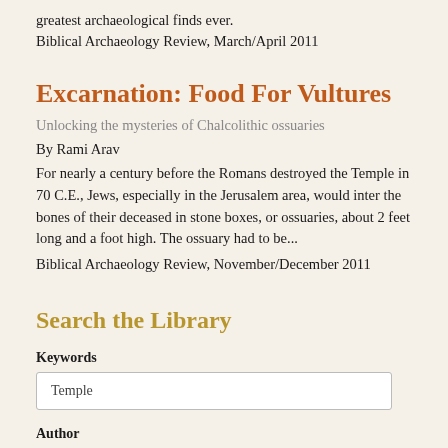greatest archaeological finds ever.
Biblical Archaeology Review, March/April 2011
Excarnation: Food For Vultures
Unlocking the mysteries of Chalcolithic ossuaries
By Rami Arav
For nearly a century before the Romans destroyed the Temple in 70 C.E., Jews, especially in the Jerusalem area, would inter the bones of their deceased in stone boxes, or ossuaries, about 2 feet long and a foot high. The ossuary had to be...
Biblical Archaeology Review, November/December 2011
Search the Library
Keywords
Temple
Author